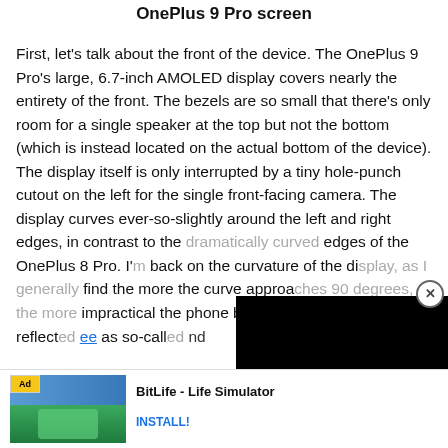OnePlus 9 Pro screen
First, let’s talk about the front of the device. The OnePlus 9 Pro’s large, 6.7-inch AMOLED display covers nearly the entirety of the front. The bezels are so small that there’s only room for a single speaker at the top but not the bottom (which is instead located on the actual bottom of the device). The display itself is only interrupted by a tiny hole-punch cutout on the left for the single front-facing camera. The display curves ever-so-slightly around the left and right edges, in contrast to the dramatically curved edges of the OnePlus 8 Pro. I’m glad OnePlus pulled back on the curvature of the display, as I generally find the more the curve approaches 90 degrees, the more impractical the phone becomes. This sentiment is reflected...ee as so-called...nd
[Figure (other): Black advertisement overlay covering part of the article text]
[Figure (other): BitLife Life Simulator app advertisement banner at the bottom of the page with green/blue app icon thumbnail, Ad label, app title, and INSTALL! button]